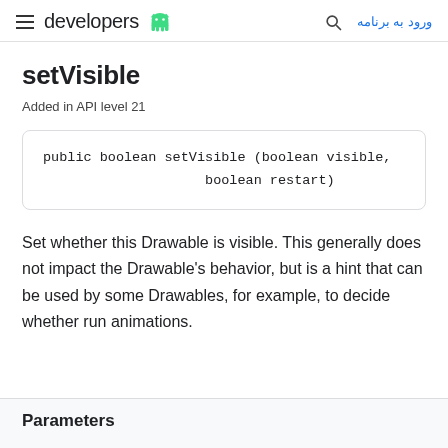developers | ورود به برنامه
setVisible
Added in API level 21
Set whether this Drawable is visible. This generally does not impact the Drawable's behavior, but is a hint that can be used by some Drawables, for example, to decide whether run animations.
Parameters